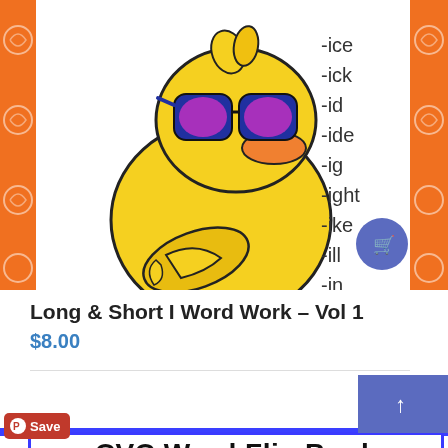[Figure (illustration): Product image: a cartoon yellow duck wearing large sunglasses with pink lenses, arms crossed, standing on orange decorative border panels on left and right. On the right side of the image are handwritten-style word family endings: -ice, -ick, -id, -ide, -ig, -ight, -ike, -ill, -in. A blue/purple circular cart button is on the lower right.]
Long & Short I Word Work – Vol 1
$8.00
[Figure (illustration): Partial view of next product: CVC Word Flip Book title bar visible at bottom of page. A red Pinterest Save button is overlaid at left. A purple scroll-to-top arrow button is visible at right.]